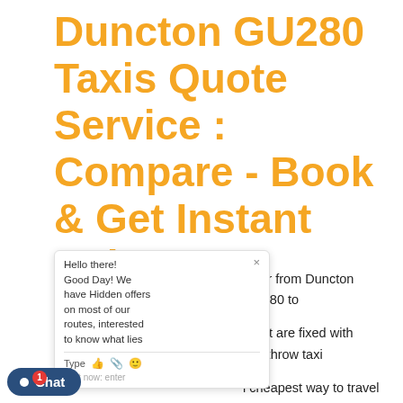Duncton GU280 Taxis Quote Service : Compare - Book & Get Instant Cabs ***No Hidden Charges***
[Figure (screenshot): A live chat widget popup showing 'Hello there! Good Day! We have Hidden offers on most of our routes, interested to know what lies' with a text input row showing Type, thumbs up, paperclip, and emoji icons, and 'chat now: enter' text at bottom.]
nsfer from Duncton GU280 to irport are fixed with Heathrow taxi l cheapest way to travel and will and will take around 00:00:00 it will cost you £61 for saloon car, can book it without any worries as we